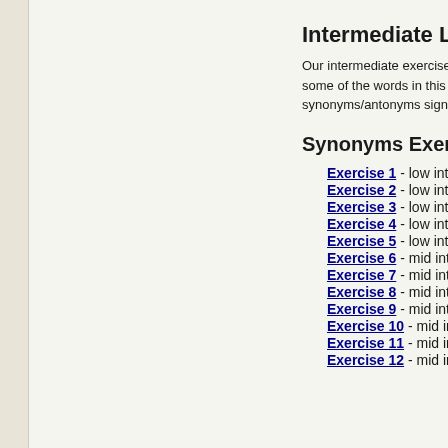Intermediate Level
Our intermediate exercises are n some of the words in this sectio synonyms/antonyms sign. It is e
Synonyms Exercises
Exercise 1 - low intermediate
Exercise 2 - low intermediate
Exercise 3 - low intermediate
Exercise 4 - low intermediate
Exercise 5 - low intermediate
Exercise 6 - mid intermediate
Exercise 7 - mid intermediate
Exercise 8 - mid intermediate
Exercise 9 - mid intermediate
Exercise 10 - mid intermediate
Exercise 11 - mid intermediate
Exercise 12 - mid intermediate